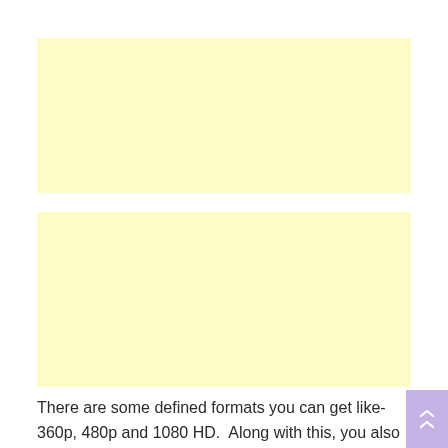[Figure (other): Light yellow advertisement placeholder box 1]
[Figure (other): Light yellow advertisement placeholder box 2]
There are some defined formats you can get like- 360p, 480p and 1080 HD.  Along with this, you also get to see the section on downloading movies in